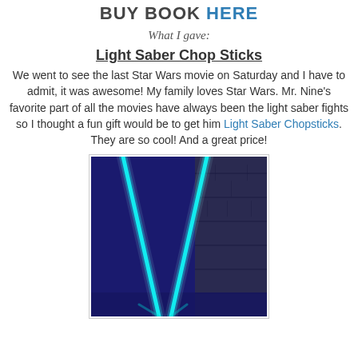BUY BOOK HERE
What I gave:
Light Saber Chop Sticks
We went to see the last Star Wars movie on Saturday and I have to admit, it was awesome! My family loves Star Wars. Mr. Nine's favorite part of all the movies have always been the light saber fights so I thought a fun gift would be to get him Light Saber Chopsticks. They are so cool! And a great price!
[Figure (photo): Photo of two glowing cyan/teal light saber chopsticks crossed in a V shape against a dark blue background with brick wall visible]